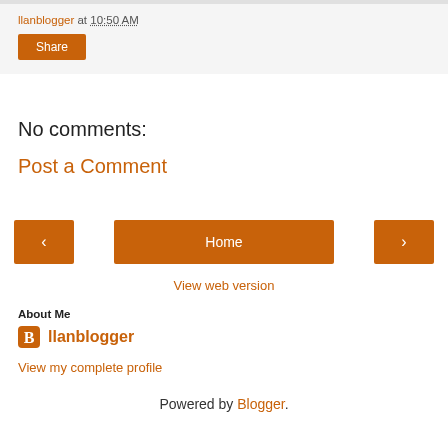llanblogger at 10:50 AM
Share
No comments:
Post a Comment
[Figure (other): Navigation buttons: left arrow, Home, right arrow]
View web version
About Me
llanblogger
View my complete profile
Powered by Blogger.